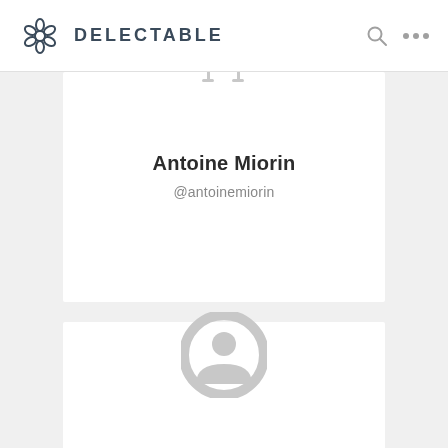DELECTABLE
[Figure (screenshot): User profile card for Antoine Miorin showing a placeholder avatar (two wine glasses silhouette in gray), name 'Antoine Miorin' in bold, and handle '@antoinemiorin']
[Figure (screenshot): Second user profile card partially visible, showing a circular gray avatar (person silhouette) and cut-off name text at bottom]